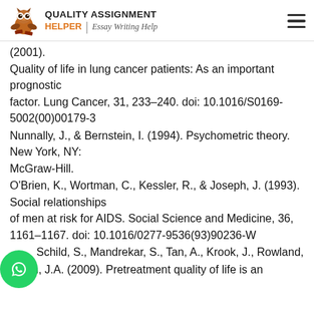QUALITY ASSIGNMENT HELPER | Essay Writing Help
(2001).
Quality of life in lung cancer patients: As an important prognostic
factor. Lung Cancer, 31, 233–240. doi: 10.1016/S0169-5002(00)00179-3
Nunnally, J., & Bernstein, I. (1994). Psychometric theory. New York, NY:
McGraw-Hill.
O'Brien, K., Wortman, C., Kessler, R., & Joseph, J. (1993). Social relationships
of men at risk for AIDS. Social Science and Medicine, 36,
1161–1167. doi: 10.1016/0277-9536(93)90236-W
Oll... Schild, S., Mandrekar, S., Tan, A., Krook, J., Rowland,
Sloan, J.A. (2009). Pretreatment quality of life is an